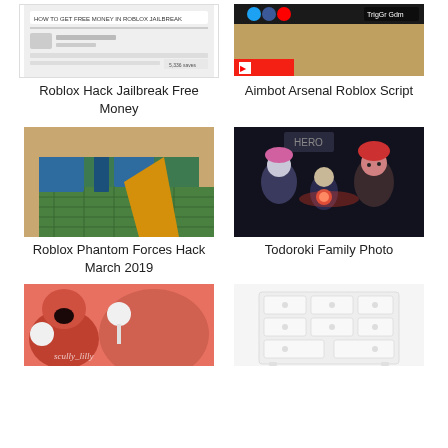[Figure (screenshot): Thumbnail showing a YouTube/web page screenshot with text 'HOW TO GET FREE MONEY IN ROBLOX JAILBREAK']
Roblox Hack Jailbreak Free Money
[Figure (screenshot): Screenshot of a Roblox game with blue/yellow colors and social media icons, labeled 'TrigGr Gdm']
Aimbot Arsenal Roblox Script
[Figure (photo): Roblox game screenshot showing blocky 3D environment with green floor and blue/yellow structures]
Roblox Phantom Forces Hack March 2019
[Figure (illustration): Anime-style illustration showing a family of characters including characters with red and white hair, huddled together in a dark setting]
Todoroki Family Photo
[Figure (illustration): Pink/orange 3D rendered illustration of cute characters, with a cursive signature 'scully_lilly']
[Figure (illustration): White dresser with multiple drawers and round knobs on white background]